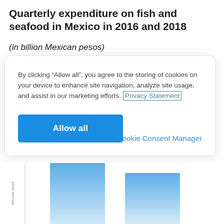Quarterly expenditure on fish and seafood in Mexico in 2016 and 2018
(in billion Mexican pesos)
By clicking “Allow all”, you agree to the storing of cookies on your device to enhance site navigation, analyze site usage, and assist in our marketing efforts. Privacy Statement
Allow all
Cookie Consent Manager
[Figure (bar-chart): Partially visible bar chart showing quarterly expenditure data, bars visible at bottom of page]